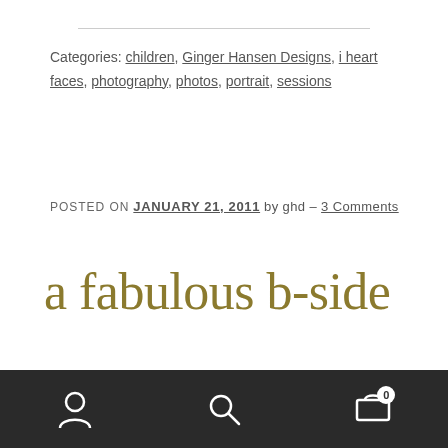Categories: children, Ginger Hansen Designs, i heart faces, photography, photos, portrait, sessions
POSTED ON JANUARY 21, 2011 by ghd – 3 Comments
a fabulous b-side
After the dinosaurs went extinct, a baby boy was born in Bethlehem and nearly 1900 years later Thomas Alva Edison invented the phonograph. As the recording